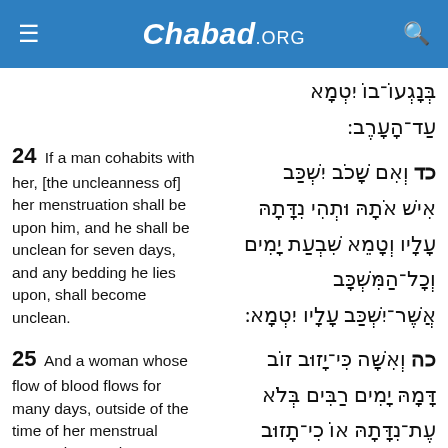Chabad.ORG
בְּנָגְעוֹ־בוֹ יִטְמָא עַד־הָעָרֶב:
24 If a man cohabits with her, [the uncleanness of] her menstruation shall be upon him, and he shall be unclean for seven days, and any bedding he lies upon, shall become unclean.
כד וְאִם שָׁכֹב יִשְׁכַּב אִישׁ אֹתָהּ וּתְהִי נִדָּתָהּ עָלָיו וְטָמֵא שִׁבְעַת יָמִים וְכָל־הַמִּשְׁכָּב אֲשֶׁר־יִשְׁכַּב עָלָיו יִטְמָא:
25 And a woman whose flow of blood flows for many days, outside of the time of her menstrual separation, or she
כה וְאִשָּׁה כִּי־יָזוּב זוֹב דָּמָהּ יָמִים רַבִּים בְּלֹא עֶת־נִדָּתָהּ אוֹ כִי־תָזוּב